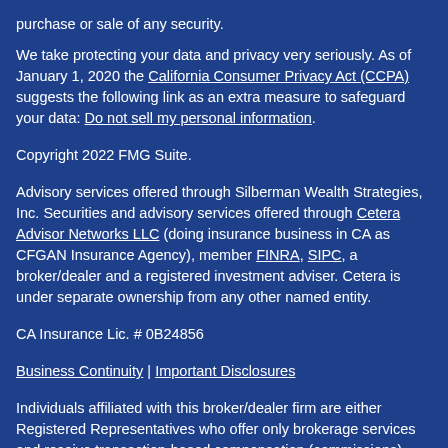purchase or sale of any security.
We take protecting your data and privacy very seriously. As of January 1, 2020 the California Consumer Privacy Act (CCPA) suggests the following link as an extra measure to safeguard your data: Do not sell my personal information.
Copyright 2022 FMG Suite.
Advisory services offered through Silberman Wealth Strategies, Inc. Securities and advisory services offered through Cetera Advisor Networks LLC (doing insurance business in CA as CFGAN Insurance Agency), member FINRA, SIPC, a broker/dealer and a registered investment adviser. Cetera is under separate ownership from any other named entity.
CA Insurance Lic. # 0B24856
Business Continuity | Important Disclosures
Individuals affiliated with this broker/dealer firm are either Registered Representatives who offer only brokerage services and receive transaction-based compensation (commissions),